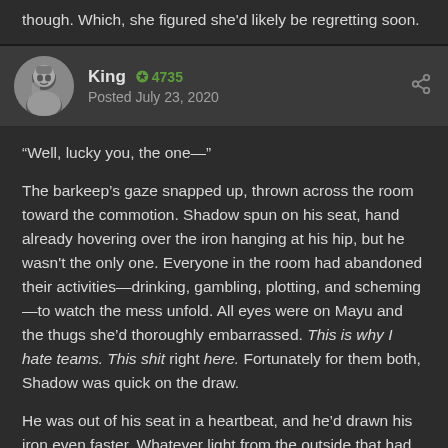though. Which, she figured she'd likely be regretting soon.
King  ✪ 4735
Posted July 23, 2020
“Well, lucky you, the one—”

The barkeep’s gaze snapped up, thrown across the room toward the commotion. Shadow spun on his seat, hand already hovering over the iron hanging at his hip, but he wasn't the only one. Everyone in the room had abandoned their activities—drinking, gambling, plotting, and scheming—to watch the mess unfold. All eyes were on Mayu and the thugs she’d thoroughly embarrassed. This is why I hate teams. This shit right here. Fortunately for them both, Shadow was quick on the draw.

He was out of his seat in a heartbeat, and he’d drawn his iron even faster. Whatever light from the outside that had cast a glow of pristine on the weapon was gone. It looked sick, almost festering. Ornate layers of bone wrapped around it, barrel to